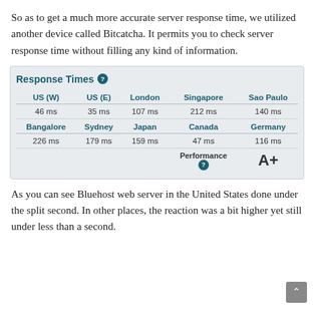So as to get a much more accurate server response time, we utilized another device called Bitcatcha. It permits you to check server response time without filling any kind of information.
| US (W) | US (E) | London | Singapore | Sao Paulo | Bangalore | Sydney | Japan | Canada | Germany |
| --- | --- | --- | --- | --- | --- | --- | --- | --- | --- |
| 46 ms | 35 ms | 107 ms | 212 ms | 140 ms |
| 226 ms | 179 ms | 159 ms | 47 ms | 116 ms |
|  |  |  | Performance (?) | A+ |
As you can see Bluehost web server in the United States done under the split second. In other places, the reaction was a bit higher yet still under less than a second.